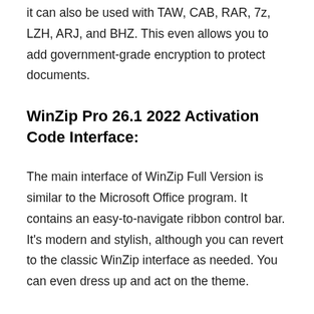it can also be used with TAW, CAB, RAR, 7z, LZH, ARJ, and BHZ. This even allows you to add government-grade encryption to protect documents.
WinZip Pro 26.1 2022 Activation Code Interface:
The main interface of WinZip Full Version is similar to the Microsoft Office program. It contains an easy-to-navigate ribbon control bar. It’s modern and stylish, although you can revert to the classic WinZip interface as needed. You can even dress up and act on the theme.
In the first option “Create” on the control bar, you can encrypt documents, resize photos, add watermarks and